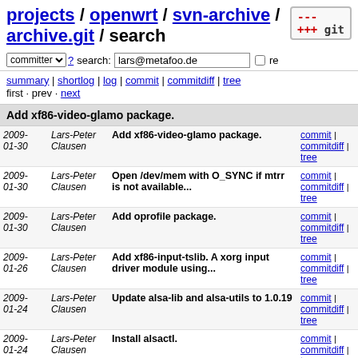projects / openwrt / svn-archive / archive.git / search
committer ▾ ? search: lars@metafoo.de re
summary | shortlog | log | commit | commitdiff | tree
first · prev · next
Add xf86-video-glamo package.
| Date | Author | Message | Links |
| --- | --- | --- | --- |
| 2009-01-30 | Lars-Peter Clausen | Add xf86-video-glamo package. | commit | commitdiff | tree |
| 2009-01-30 | Lars-Peter Clausen | Open /dev/mem with O_SYNC if mtrr is not available... | commit | commitdiff | tree |
| 2009-01-30 | Lars-Peter Clausen | Add oprofile package. | commit | commitdiff | tree |
| 2009-01-26 | Lars-Peter Clausen | Add xf86-input-tslib. A xorg input driver module using... | commit | commitdiff | tree |
| 2009-01-24 | Lars-Peter Clausen | Update alsa-lib and alsa-utils to 1.0.19 | commit | commitdiff | tree |
| 2009-01-24 | Lars-Peter Clausen | Install alsactl. | commit | commitdiff | tree |
| 2009-01-13 | Lars-Peter Clausen | Merge libbfd and binutils Makefile. | commit | commitdiff | tree |
| 2009-01-11 | Lars-Peter Clausen | Add liberation fonts. | commit | commitdiff | tree |
| 2009-01-11 | Lars-Peter Clausen | Add xrdb. | commit | commitdiff | tree |